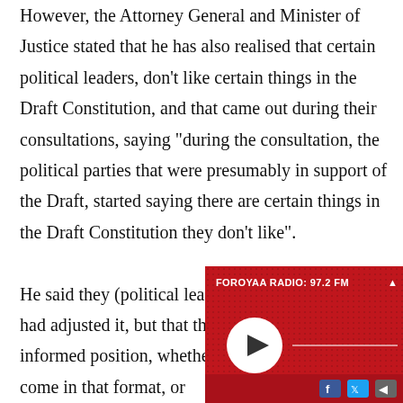However, the Attorney General and Minister of Justice stated that he has also realised that certain political leaders, don't like certain things in the Draft Constitution, and that came out during their consultations, saying "during the consultation, the political parties that were presumably in support of the Draft, started saying there are certain things in the Draft Constitution they don't like".

He said they (political leaders) came together and had adjusted it, but that they had to take an informed position, whether or not it is going to come in that format, or... consultati...

"To answe...
[Figure (other): Foroyaa Radio 97.2 FM embedded audio player widget with red background, play button, progress bar, and social media icons (Facebook, Twitter, speaker)]